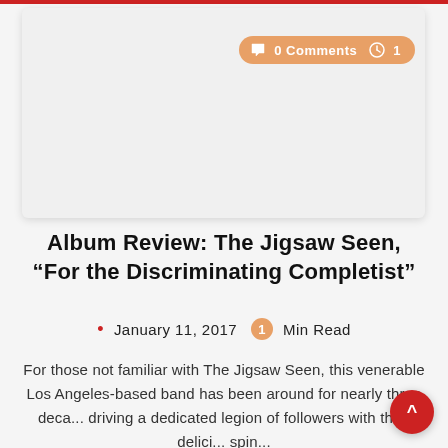[Figure (screenshot): Gray card area with comment badge showing '0 Comments' and clock icon with '1']
Album Review: The Jigsaw Seen, “For the Discriminating Completist”
January 11, 2017  1 Min Read
For those not familiar with The Jigsaw Seen, this venerable Los Angeles-based band has been around for nearly three deca... driving a dedicated legion of followers with their delici... spin...